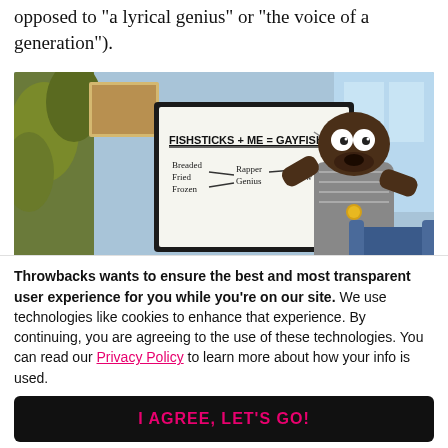opposed to "a lyrical genius" or "the voice of a generation").
[Figure (screenshot): South Park animated cartoon screenshot showing a character (resembling Kanye West) at a whiteboard that reads 'FISHSTICKS + ME = GAYFISH' with 'Breaded Fried Frozen' and 'Rapper Genius' written below with arrows.]
Throwbacks wants to ensure the best and most transparent user experience for you while you're on our site. We use technologies like cookies to enhance that experience. By continuing, you are agreeing to the use of these technologies. You can read our Privacy Policy to learn more about how your info is used.
I AGREE, LET'S GO!